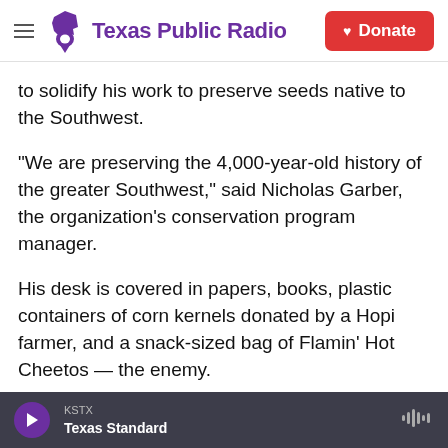Texas Public Radio | Donate
to solidify his work to preserve seeds native to the Southwest.
"We are preserving the 4,000-year-old history of the greater Southwest," said Nicholas Garber, the organization's conservation program manager.
His desk is covered in papers, books, plastic containers of corn kernels donated by a Hopi farmer, and a snack-sized bag of Flamin' Hot Cheetos — the enemy.
"I really do feel like the work we're doing with the
KSTX
Texas Standard